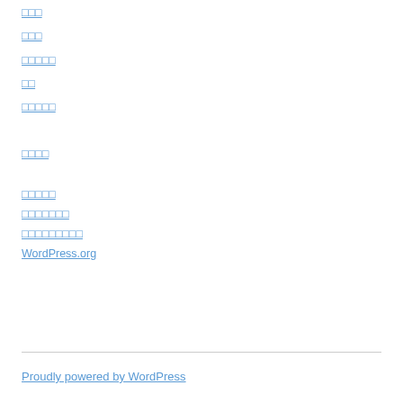□□□
□□□
□□□□□
□□
□□□□□
□□□□
□□□□□
□□□□□□□
□□□□□□□□□
WordPress.org
Proudly powered by WordPress